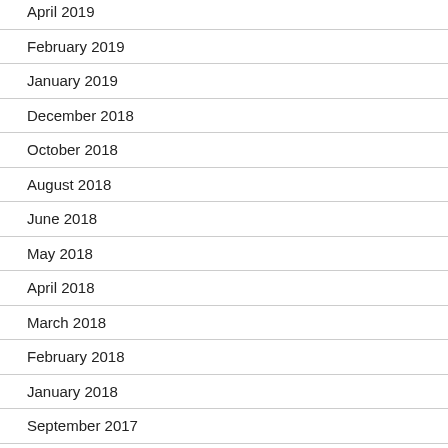April 2019
February 2019
January 2019
December 2018
October 2018
August 2018
June 2018
May 2018
April 2018
March 2018
February 2018
January 2018
September 2017
June 2017